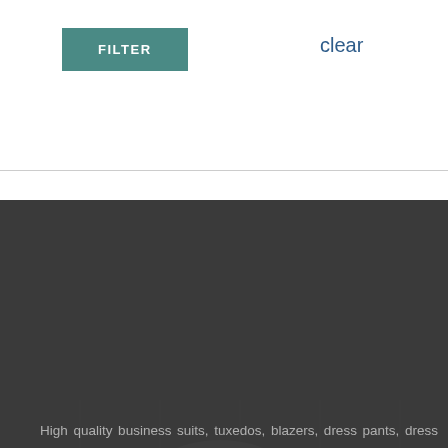FILTER
clear
High quality business suits, tuxedos, blazers, dress pants, dress shoes, dress shirts, and the finest silk ties.
Headquarters:
11517 Santa Monica Blvd
Los Angeles, CA 90025
Phone: (310) 474-7571